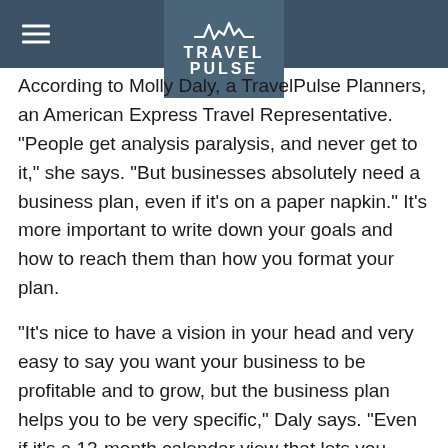Travel Pulse
According to Molly Daly, a TravelPulse Planners, an American Express Travel Representative. “People get analysis paralysis, and never get to it,” she says. “But businesses absolutely need a business plan, even if it’s on a paper napkin.” It’s more important to write down your goals and how to reach them than how you format your plan.
“It’s nice to have a vision in your head and very easy to say you want your business to be profitable and to grow, but the business plan helps you to be very specific,” Daly says. “Even if it’s a 12-month calendar view that lets you focus on each month and helps guide your business in the right direction.”